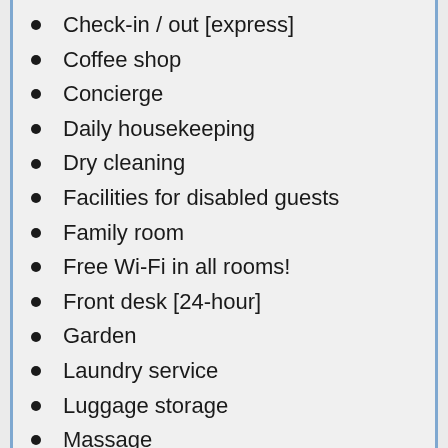Check-in / out [express]
Coffee shop
Concierge
Daily housekeeping
Dry cleaning
Facilities for disabled guests
Family room
Free Wi-Fi in all rooms!
Front desk [24-hour]
Garden
Laundry service
Luggage storage
Massage
Rental car
Restaurants
Room service
Safety deposit boxes